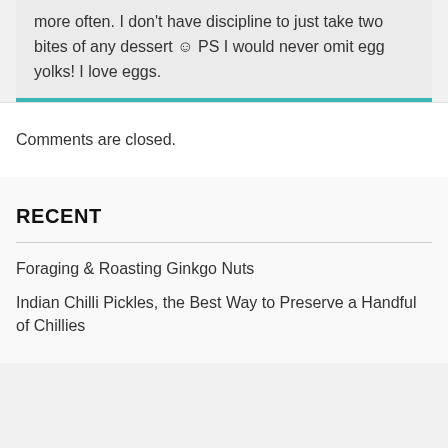more often. I don't have discipline to just take two bites of any dessert ☺ PS I would never omit egg yolks! I love eggs.
Comments are closed.
RECENT
Foraging & Roasting Ginkgo Nuts
Indian Chilli Pickles, the Best Way to Preserve a Handful of Chillies